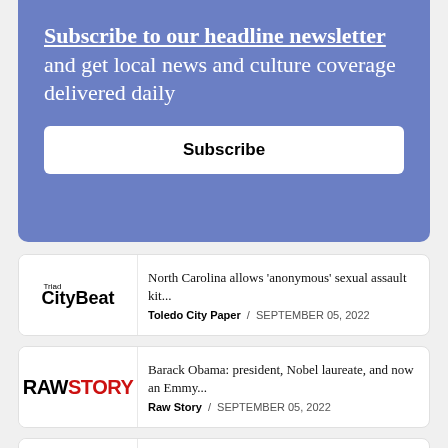[Figure (infographic): Blue subscription banner with white text reading 'Subscribe to our headline newsletter and get local news and culture coverage delivered daily' with a white Subscribe button below]
[Figure (logo): Triad CityBeat logo - black bold text]
North Carolina allows 'anonymous' sexual assault kit...
Toledo City Paper  /  SEPTEMBER 05, 2022
[Figure (logo): Raw Story logo - black and red bold text]
Barack Obama: president, Nobel laureate, and now an Emmy...
Raw Story  /  SEPTEMBER 05, 2022
Pizzeria Virtù Serves